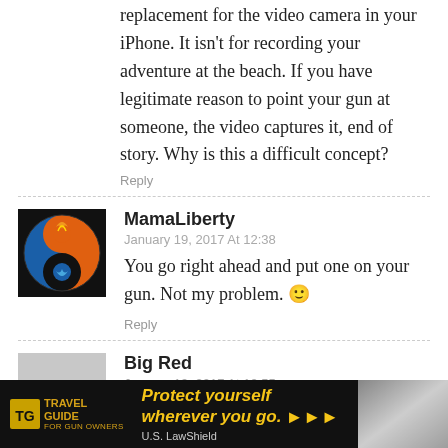replacement for the video camera in your iPhone. It isn't for recording your adventure at the beach. If you have legitimate reason to point your gun at someone, the video captures it, end of story. Why is this a difficult concept?
Reply
[Figure (illustration): Circular avatar/logo with yin-yang style design featuring fire and water elements in orange, blue, and white on black background]
MamaLiberty
January 19, 2017 At 12:38
You go right ahead and put one on your gun. Not my problem. 🙂
Reply
[Figure (illustration): Generic user avatar placeholder — grey silhouette of a person on grey background]
Big Red
January 19, 2017 At 10:55
I hope the batteries last longer than the ones used
[Figure (infographic): Advertisement banner for U.S. LawShield - Travel Guide for Gun Owners. Dark background with gold text reading TRAVEL GUIDE FOR GUN OWNERS and tagline Protect yourself wherever you go. with orange arrow icons and U.S. LawShield branding.]